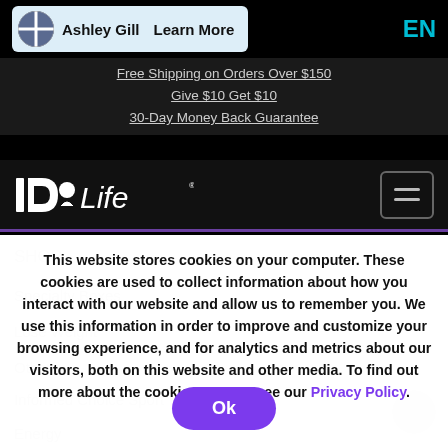Ashley Gill   Learn More   EN
Free Shipping on Orders Over $150
Give $10 Get $10
30-Day Money Back Guarantee
[Figure (logo): IDLife logo in white on black background]
This website stores cookies on your computer. These cookies are used to collect information about how you interact with our website and allow us to remember you. We use this information in order to improve and customize your browsing experience, and for analytics and metrics about our visitors, both on this website and other media. To find out more about the cookies we use, see our Privacy Policy.
Ok